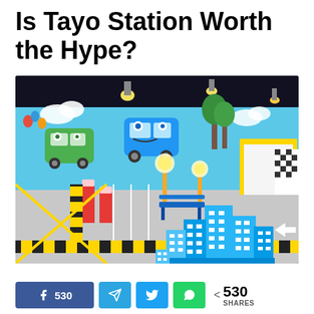Is Tayo Station Worth the Hype?
[Figure (photo): Interior of Tayo Station, a children's play area themed after the Korean animated series Tayo the Little Bus. The room features colorful murals of cartoon buses on the walls, a black-and-yellow striped road track on the floor with yellow lane markings, blue foam block buildings in the foreground, red parking barriers, green benches, and globe lamps.]
530 (Facebook share count) | Telegram share | Twitter share | WhatsApp share | < 530 SHARES